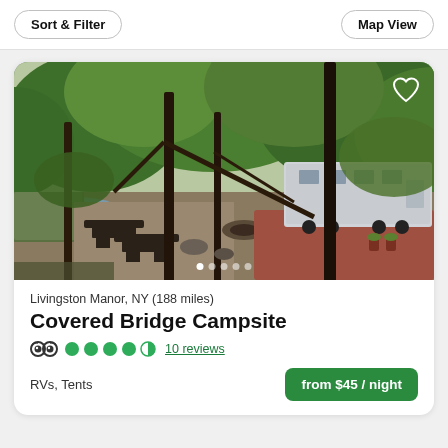Sort & Filter | Map View
[Figure (photo): Aerial view of Covered Bridge Campsite in Livingston Manor NY, showing lush green trees, a creek, picnic tables, and an RV parked on a red deck area]
Livingston Manor, NY (188 miles)
Covered Bridge Campsite
4.5 stars — 10 reviews
RVs, Tents
from $45 / night